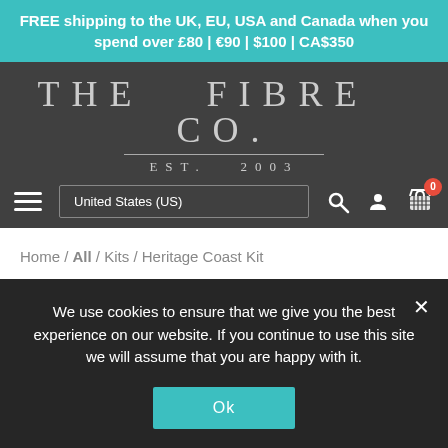FREE shipping to the UK, EU, USA and Canada when you spend over £80 | €90 | $100 | CA$350
[Figure (logo): The Fibre Co. logo with serif lettering, decorative line, and EST. 2003 subtitle on dark background]
United States (US)
Home / All / Kits / Heritage Coast Kit
We use cookies to ensure that we give you the best experience on our website. If you continue to use this site we will assume that you are happy with it.
Ok